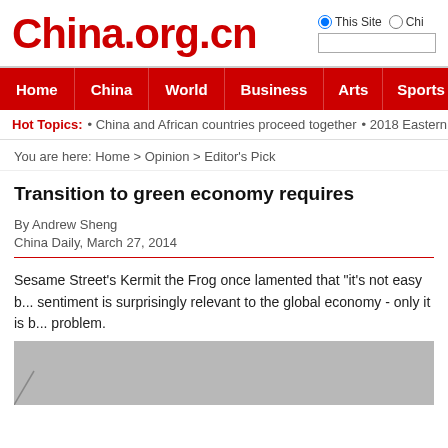China.org.cn
Home | China | World | Business | Arts | Sports | Travel | Opinion
Hot Topics: • China and African countries proceed together • 2018 Eastern Econ...
You are here: Home > Opinion > Editor's Pick
Transition to green economy requires
By Andrew Sheng
China Daily, March 27, 2014
Sesame Street's Kermit the Frog once lamented that "it's not easy b... sentiment is surprisingly relevant to the global economy - only it is b... problem.
[Figure (photo): Gray image placeholder at bottom of article]